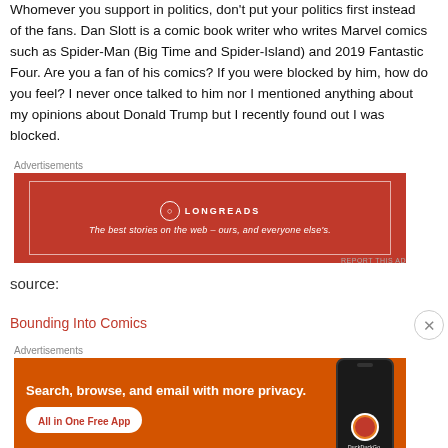Whomever you support in politics, don't put your politics first instead of the fans. Dan Slott is a comic book writer who writes Marvel comics such as Spider-Man (Big Time and Spider-Island) and 2019 Fantastic Four. Are you a fan of his comics? If you were blocked by him, how do you feel? I never once talked to him nor I mentioned anything about my opinions about Donald Trump but I recently found out I was blocked.
[Figure (other): Longreads advertisement: red background with white border, Longreads logo and tagline 'The best stories on the web - ours, and everyone else's.']
source:
Bounding Into Comics
[Figure (other): DuckDuckGo advertisement: orange background with text 'Search, browse, and email with more privacy. All in One Free App' and phone mockup with DuckDuckGo logo.]